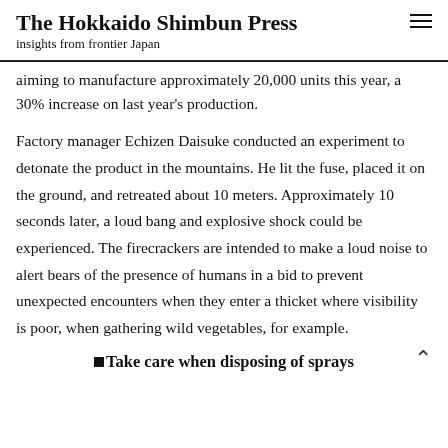The Hokkaido Shimbun Press
insights from frontier Japan
aiming to manufacture approximately 20,000 units this year, a 30% increase on last year's production.
Factory manager Echizen Daisuke conducted an experiment to detonate the product in the mountains. He lit the fuse, placed it on the ground, and retreated about 10 meters. Approximately 10 seconds later, a loud bang and explosive shock could be experienced. The firecrackers are intended to make a loud noise to alert bears of the presence of humans in a bid to prevent unexpected encounters when they enter a thicket where visibility is poor, when gathering wild vegetables, for example.
■Take care when disposing of sprays